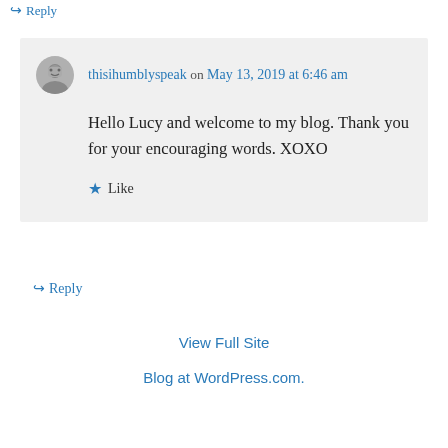↪ Reply
thisihumblyspeak on May 13, 2019 at 6:46 am
Hello Lucy and welcome to my blog. Thank you for your encouraging words. XOXO
★ Like
↪ Reply
View Full Site
Blog at WordPress.com.